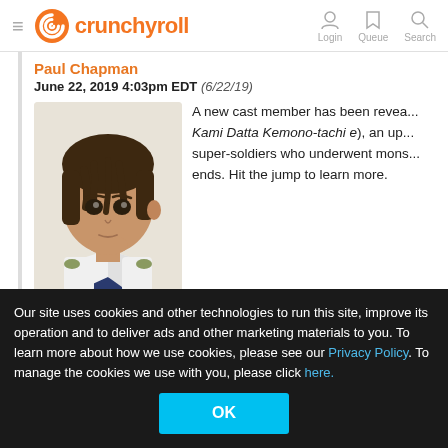crunchyroll — Login | Queue | Search
Paul Chapman
June 22, 2019 4:03pm EDT (6/22/19)
[Figure (illustration): Anime character portrait: a young male character with dark brown hair, wearing a white military-style uniform with a blue undershirt and gold shoulder accents. Illustrated in anime art style.]
A new cast member has been revea... Kami Datta Kemono-tachi e), an up... super-soldiers who underwent mons... ends. Hit the jump to learn more.
Friday June 21, 2019
Our site uses cookies and other technologies to run this site, improve its operation and to deliver ads and other marketing materials to you. To learn more about how we use cookies, please see our Privacy Policy. To manage the cookies we use with you, please click here.